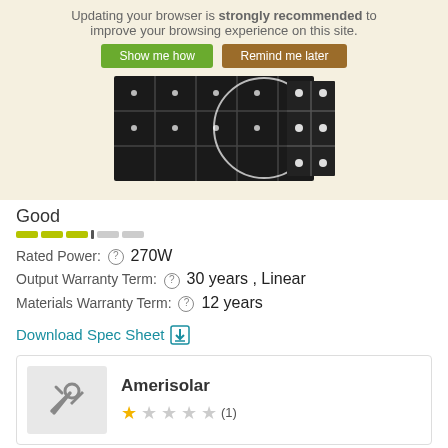[Figure (screenshot): Browser update banner overlaid on solar panel product page screenshot showing solar panel image with zoom circle]
Updating your browser is strongly recommended to improve your browsing experience on this site. Show me how  Remind me later
Good
[Figure (infographic): Green rating bar with filled and empty segments]
Rated Power: ⓘ 270W
Output Warranty Term: ⓘ 30 years , Linear
Materials Warranty Term: ⓘ 12 years
Download Spec Sheet ⬇
Amerisolar
★☆☆☆☆ (1)
See all Amerisolar Solar Panels
See all Solar Panels